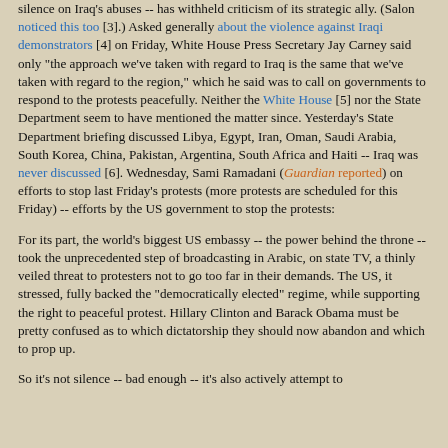silence on Iraq's abuses -- has withheld criticism of its strategic ally. (Salon noticed this too [3].) Asked generally about the violence against Iraqi demonstrators [4] on Friday, White House Press Secretary Jay Carney said only "the approach we've taken with regard to Iraq is the same that we've taken with regard to the region," which he said was to call on governments to respond to the protests peacefully. Neither the White House [5] nor the State Department seem to have mentioned the matter since. Yesterday's State Department briefing discussed Libya, Egypt, Iran, Oman, Saudi Arabia, South Korea, China, Pakistan, Argentina, South Africa and Haiti -- Iraq was never discussed [6]. Wednesday, Sami Ramadani (Guardian) reported on efforts to stop last Friday's protests (more protests are scheduled for this Friday) -- efforts by the US government to stop the protests:
For its part, the world's biggest US embassy -- the power behind the throne -- took the unprecedented step of broadcasting in Arabic, on state TV, a thinly veiled threat to protesters not to go too far in their demands. The US, it stressed, fully backed the "democratically elected" regime, while supporting the right to peaceful protest. Hillary Clinton and Barack Obama must be pretty confused as to which dictatorship they should now abandon and which to prop up.
So it's not silence -- bad enough -- it's also actively attempt to